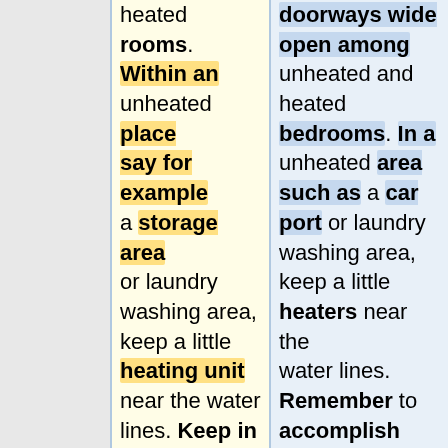heated rooms. Within an unheated place say for example a storage area or laundry washing area, keep a little heating unit near the water lines. Keep in mind to do this just before the very first chilly snap strikes. <br><br> <br>When a tube at any time freezes, you must make sure to shut down water. This will keep your water
doorways wide open among unheated and heated bedrooms. In a unheated area such as a car port or laundry washing area, keep a little heaters near the water lines. Remember to accomplish this just before the initially frosty click hits.<br> <br><br>When a water pipe possibly freezes, [https://www.facebook.com/sos